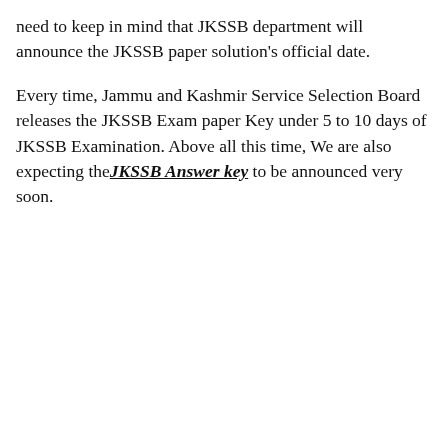need to keep in mind that JKSSB department will announce the JKSSB paper solution's official date.
Every time, Jammu and Kashmir Service Selection Board releases the JKSSB Exam paper Key under 5 to 10 days of JKSSB Examination. Above all this time, We are also expecting the JKSSB Answer key to be announced very soon.